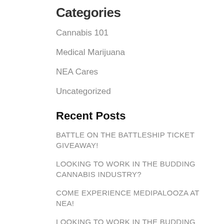Categories
Cannabis 101
Medical Marijuana
NEA Cares
Uncategorized
Recent Posts
BATTLE ON THE BATTLESHIP TICKET GIVEAWAY!
LOOKING TO WORK IN THE BUDDING CANNABIS INDUSTRY?
COME EXPERIENCE MEDIPALOOZA AT NEA!
LOOKING TO WORK IN THE BUDDING CANNABIS INDUSTRY?
May 16th Is NEA Employee Appreciation Day!
Archives